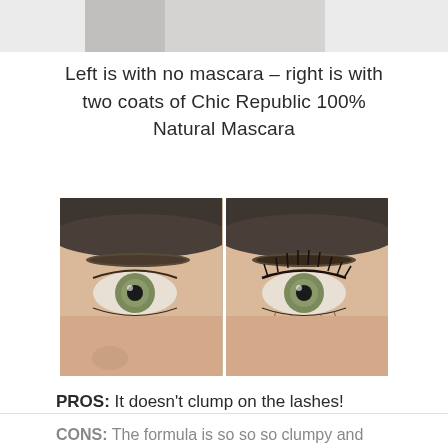[Figure (photo): Partial top strip of a before/after photo showing top of head/hair]
Left is with no mascara – right is with two coats of Chic Republic 100% Natural Mascara
[Figure (photo): Side-by-side before and after close-up photos of a woman's eye. Left photo shows eye with no mascara; right photo shows eye with two coats of Chic Republic 100% Natural Mascara with visibly defined lashes.]
PROS: It doesn't clump on the lashes!
CONS: The formula is so so so clumpy and